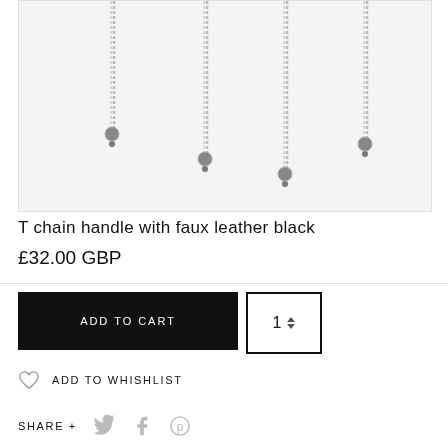[Figure (photo): Product photo showing T chain handles with silver chains and small ball/bead ends hanging down, on a light grey background.]
T chain handle with faux leather black
£32.00 GBP
ADD TO CART
1
ADD TO WHISHLIST
SHARE +